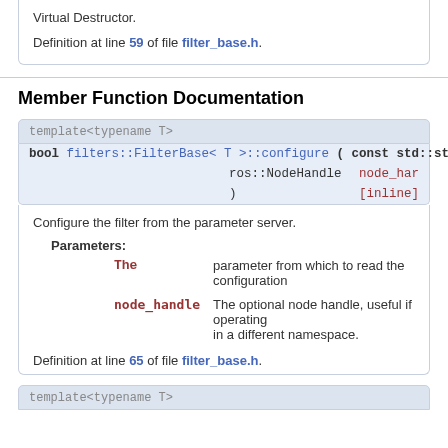Virtual Destructor.

Definition at line 59 of file filter_base.h.
Member Function Documentation
template<typename T>
bool filters::FilterBase< T >::configure ( const std::string & param_na
                                            ros::NodeHandle node_har
                                          ) [inline]
Configure the filter from the parameter server.
Parameters:
  The       parameter from which to read the configuration
  node_handle  The optional node handle, useful if operating in a different namespace.
Definition at line 65 of file filter_base.h.
template<typename T>